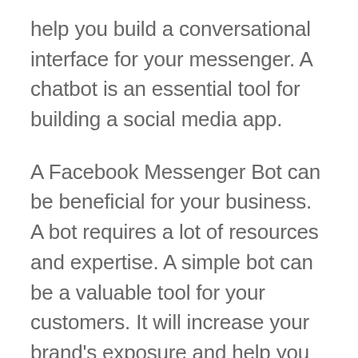help you build a conversational interface for your messenger. A chatbot is an essential tool for building a social media app.
A Facebook Messenger Bot can be beneficial for your business. A bot requires a lot of resources and expertise. A simple bot can be a valuable tool for your customers. It will increase your brand's exposure and help you generate sales. Ultimately, a chatbot will help your business. But it won't be as helpful as a live agent. It's a good idea to have a bot that can answer questions from your